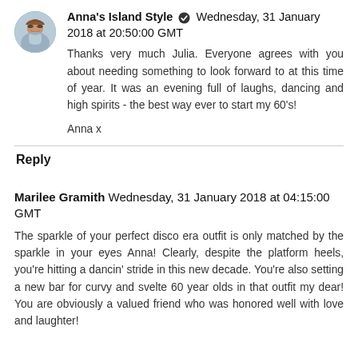[Figure (photo): Circular avatar photo of a woman with sunglasses and short curly hair]
Anna's Island Style ✔ Wednesday, 31 January 2018 at 20:50:00 GMT
Thanks very much Julia. Everyone agrees with you about needing something to look forward to at this time of year. It was an evening full of laughs, dancing and high spirits - the best way ever to start my 60's!
Anna x
Reply
Marilee Gramith Wednesday, 31 January 2018 at 04:15:00 GMT
The sparkle of your perfect disco era outfit is only matched by the sparkle in your eyes Anna! Clearly, despite the platform heels, you're hitting a dancin' stride in this new decade. You're also setting a new bar for curvy and svelte 60 year olds in that outfit my dear! You are obviously a valued friend who was honored well with love and laughter!